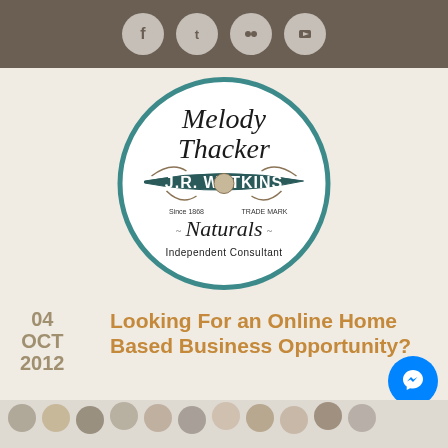Social media icons: Facebook, Twitter, Flickr, YouTube
[Figure (logo): Melody Thacker J.R. Watkins Naturals Independent Consultant circular logo with teal border]
Looking For an Online Home Based Business Opportunity?
04 OCT 2012
by Melody Thacker, in News, Opportunity
Comments Off
[Figure (photo): Row of people headshots at bottom of page]